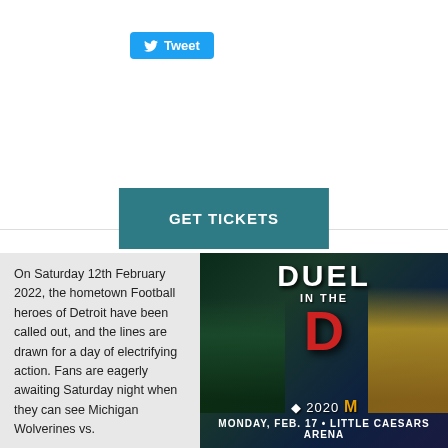[Figure (screenshot): Twitter Tweet button in light blue]
[Figure (screenshot): GET TICKETS button in teal/dark cyan color]
On Saturday 12th February 2022, the hometown Football heroes of Detroit have been called out, and the lines are drawn for a day of electrifying action. Fans are eagerly awaiting Saturday night when they can see Michigan Wolverines vs.
[Figure (photo): Duel in the D hockey event poster showing two players in green and yellow jerseys, with 'DUEL IN THE D' logo, '2020', and 'MONDAY, FEB. 17 • LITTLE CAESARS ARENA' text]